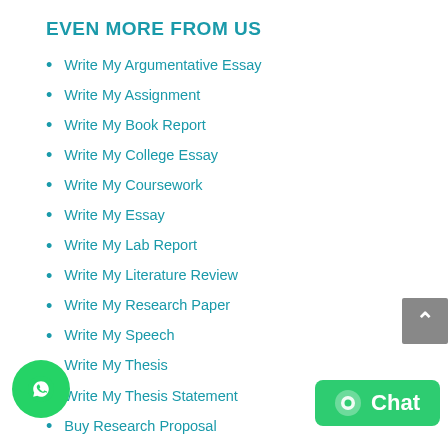EVEN MORE FROM US
Write My Argumentative Essay
Write My Assignment
Write My Book Report
Write My College Essay
Write My Coursework
Write My Essay
Write My Lab Report
Write My Literature Review
Write My Research Paper
Write My Speech
Write My Thesis
Write My Thesis Statement
Buy Research Proposal
Buy Scholarship Essay
Buy Speech Capstone
Project Writing Service
Speech Writing Services
Write Essays For Money